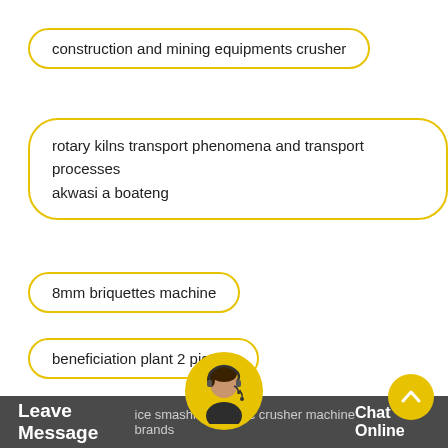construction and mining equipments crusher
rotary kilns transport phenomena and transport processes akwasi a boateng
8mm briquettes machine
beneficiation plant 2 picture
rod 426 encoder pdf
Leave Message   ice smashing electric crusher machine brands   Chat Online